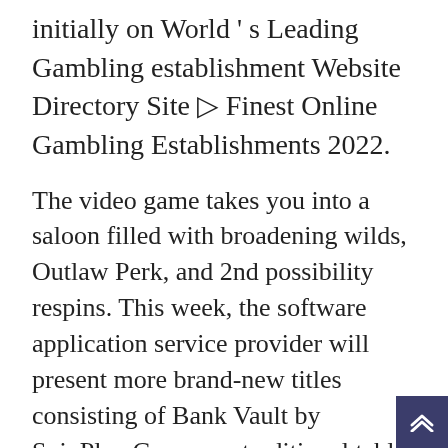initially on World ' s Leading Gambling establishment Website Directory Site ▷ Finest Online Gambling Establishments 2022.
The video game takes you into a saloon filled with broadening wilds, Outlaw Perk, and 2nd possibility respins. This week, the software application service provider will present more brand-new titles consisting of Bank Vault by SpinPlay Games., a traditional table video game with fascinating animations and colors. Numerous brand-new titles are arriving this month providing brand-new styles, functions, and most significantly big wins! New Releases Microgaming and its partner designers have a